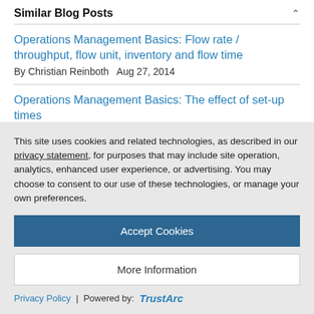Similar Blog Posts
Operations Management Basics: Flow rate / throughput, flow unit, inventory and flow time
By Christian Reinboth   Aug 27, 2014
Operations Management Basics: The effect of set-up times
By Christian Reinboth   Jan 04, 2015
Operations Management Basics: Calculation of the time in the
This site uses cookies and related technologies, as described in our privacy statement, for purposes that may include site operation, analytics, enhanced user experience, or advertising. You may choose to consent to our use of these technologies, or manage your own preferences.
Accept Cookies
More Information
Privacy Policy | Powered by: TrustArc